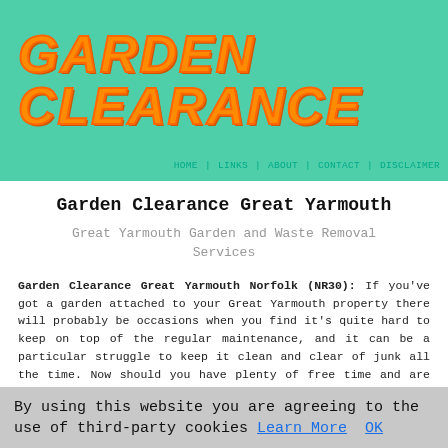GARDEN CLEARANCE
HOME | LINKS | ABOUT | CONTACT | DISCLAIMER
Garden Clearance Great Yarmouth
Great Yarmouth Garden and Waste Removal Services
Garden Clearance Great Yarmouth Norfolk (NR30): If you've got a garden attached to your Great Yarmouth property there will probably be occasions when you find it's quite hard to keep on top of the regular maintenance, and it can be a particular struggle to keep it clean and clear of junk all the time. Now should you have plenty of free time and are happy to do the gardening this will likely not be a concern, though for many hard working individuals in Great Yarmouth, time's precious, and clearing the garden is generally just one of those tasks that is forgotten and
By using this website you are agreeing to the use of third-party cookies Learn More  OK